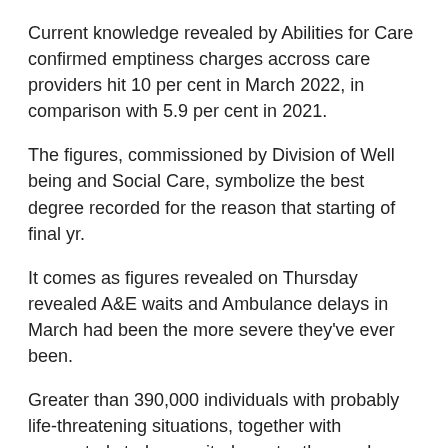Current knowledge revealed by Abilities for Care confirmed emptiness charges accross care providers hit 10 per cent in March 2022, in comparison with 5.9 per cent in 2021.
The figures, commissioned by Division of Well being and Social Care, symbolize the best degree recorded for the reason that starting of final yr.
It comes as figures revealed on Thursday revealed A&E waits and Ambulance delays in March had been the more severe they've ever been.
Greater than 390,000 individuals with probably life-threatening situations, together with suspected strokes, waited greater than an hour for an ambulance.
One in ten sufferers waited greater than two hours for an ambulance which ought to come inside 18 minutes.